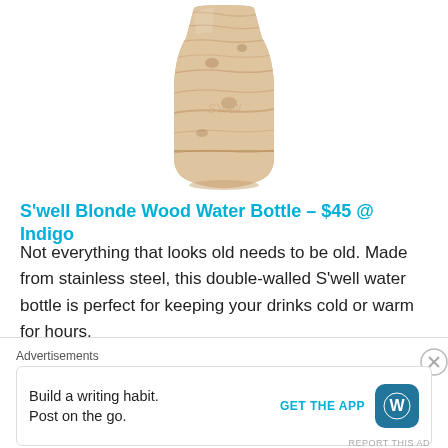[Figure (photo): S'well blonde wood patterned water bottle showing top half, wood grain texture in light tan/beige tones]
S'well Blonde Wood Water Bottle – $45 @ Indigo
Not everything that looks old needs to be old. Made from stainless steel, this double-walled S'well water bottle is perfect for keeping your drinks cold or warm for hours.
[Figure (photo): Partial view of a round green object (possibly a melon or avocado) with speckled surface, cropped at bottom of page]
Advertisements
Build a writing habit. Post on the go.
GET THE APP